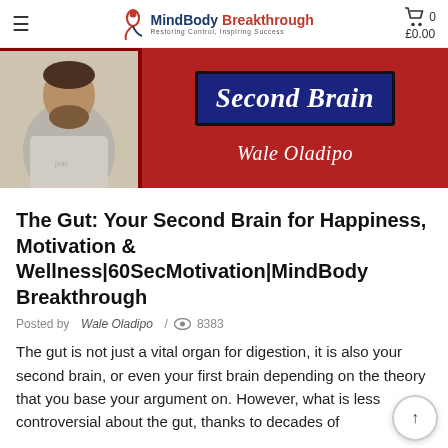MindBody Breakthrough — Restoring Control, Inspiring Success | Cart £0.00
[Figure (photo): Banner image with a man in a grey t-shirt on the left, and a dark red background on the right featuring 'Second Brain' in white italic text on a dark blue box, and 'Wale Oladipo' in white italic text below.]
The Gut: Your Second Brain for Happiness, Motivation & Wellness|60SecMotivation|MindBody Breakthrough
Posted by  Wale Oladipo  /  👁 8383
The gut is not just a vital organ for digestion, it is also your second brain, or even your first brain depending on the theory that you base your argument on. However, what is less controversial about the gut, thanks to decades of